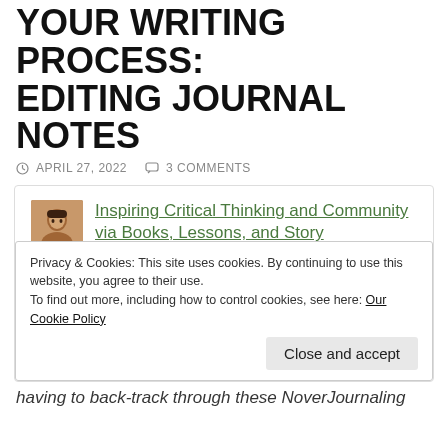YOUR WRITING PROCESS: EDITING JOURNAL NOTES
APRIL 27, 2022   3 COMMENTS
Inspiring Critical Thinking and Community via Books, Lessons, and Story
These are notes from my Do Better editing journal (separate from my Do Better journal, which records my thoughts about the process while outlining, drafting, and editing this book).
Privacy & Cookies: This site uses cookies. By continuing to use this website, you agree to their use.
To find out more, including how to control cookies, see here: Our Cookie Policy
having to back-track through these NoverJournaling